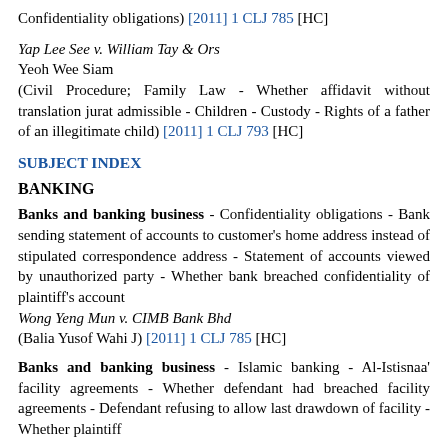Confidentiality obligations) [2011] 1 CLJ 785 [HC]
Yap Lee See v. William Tay & Ors
Yeoh Wee Siam
(Civil Procedure; Family Law - Whether affidavit without translation jurat admissible - Children - Custody - Rights of a father of an illegitimate child) [2011] 1 CLJ 793 [HC]
SUBJECT INDEX
BANKING
Banks and banking business - Confidentiality obligations - Bank sending statement of accounts to customer's home address instead of stipulated correspondence address - Statement of accounts viewed by unauthorized party - Whether bank breached confidentiality of plaintiff's account
Wong Yeng Mun v. CIMB Bank Bhd
(Balia Yusof Wahi J) [2011] 1 CLJ 785 [HC]
Banks and banking business - Islamic banking - Al-Istisnaa' facility agreements - Whether defendant had breached facility agreements - Defendant refusing to allow last drawdown of facility - Whether plaintiff